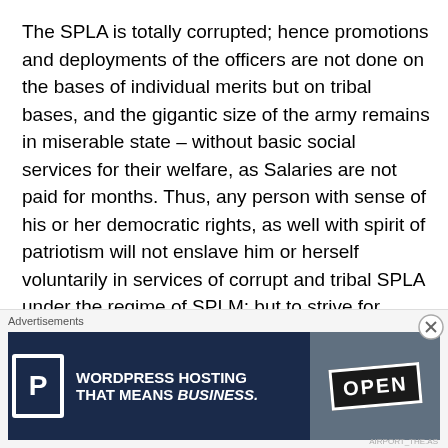The SPLA is totally corrupted; hence promotions and deployments of the officers are not done on the bases of individual merits but on tribal bases, and the gigantic size of the army remains in miserable state – without basic social services for their welfare, as Salaries are not paid for months. Thus, any person with sense of his or her democratic rights, as well with spirit of patriotism will not enslave him or herself voluntarily in services of corrupt and tribal SPLA under the regime of SPLM; but to strive for meaningful changes of the systems – that starts with regime change.
We would like to state to the general public that, REMNASA
[Figure (other): Advertisements banner: WordPress Hosting That Means Business. with a P logo and an OPEN sign photo.]